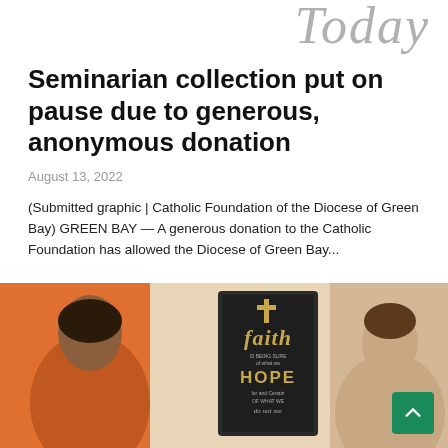Today
Seminarian collection put on pause due to generous, anonymous donation
August 13, 2022
(Submitted graphic | Catholic Foundation of the Diocese of Green Bay) GREEN BAY — A generous donation to the Catholic Foundation has allowed the Diocese of Green Bay...
[Figure (photo): Photo of two people in a room with a decorative 'faith' sign on the wall reading 'faith IS BEING SURE of what we HOPE for and Certain OF WHAT WE do not see']